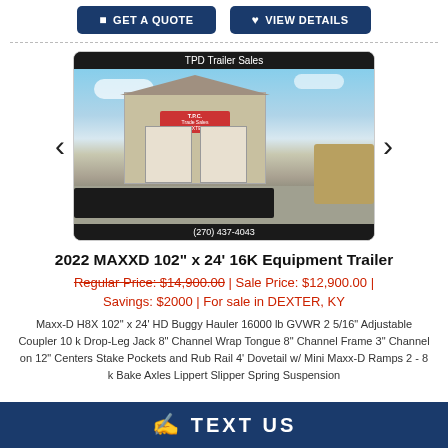GET A QUOTE | VIEW DETAILS
[Figure (photo): Photo of a 2022 MAXXD equipment trailer parked in front of TPD Trailer Sales building. Phone number (270) 437-4043 shown at bottom.]
2022 MAXXD 102" x 24' 16K Equipment Trailer
Regular Price: $14,900.00 | Sale Price: $12,900.00 | Savings: $2000 | For sale in DEXTER, KY
Maxx-D H8X 102" x 24' HD Buggy Hauler 16000 lb GVWR 2 5/16" Adjustable Coupler 10 k Drop-Leg Jack 8" Channel Wrap Tongue 8" Channel Frame 3" Channel on 12" Centers Stake Pockets and Rub Rail 4' Dovetail w/ Mini Maxx-D Ramps 2 - 8 k Bake Axles Lippert Slipper Spring Suspension
TEXT US